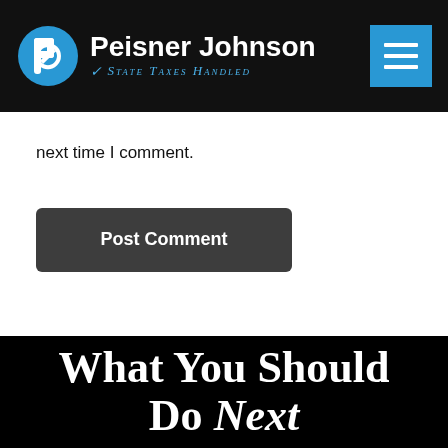Peisner Johnson — State Taxes Handled
next time I comment.
Post Comment
What You Should Do Next